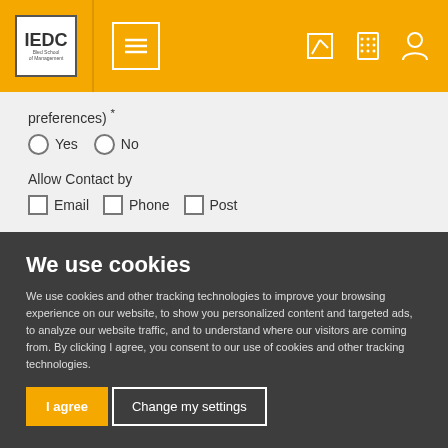IEDC Bled School of Management — navigation bar with logo, menu, edit, phone, and user icons
preferences) *
Yes  No
Allow Contact by
Email  Phone  Post
We use cookies
We use cookies and other tracking technologies to improve your browsing experience on our website, to show you personalized content and targeted ads, to analyze our website traffic, and to understand where our visitors are coming from. By clicking I agree, you consent to our use of cookies and other tracking technologies.
I agree  Change my settings